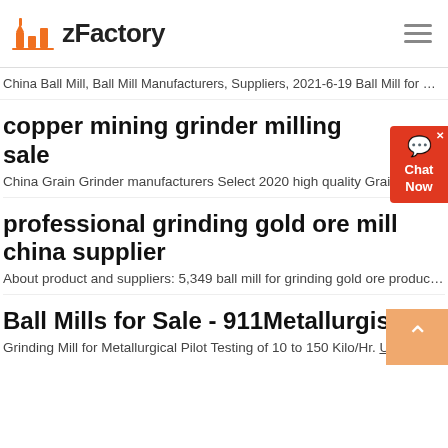zFactory
China Ball Mill, Ball Mill Manufacturers, Suppliers, 2021-6-19 Ball Mill for G...
copper mining grinder milling sale
China Grain Grinder manufacturers Select 2020 high quality Grain Grind...
professional grinding gold ore mill china supplier
About product and suppliers: 5,349 ball mill for grinding gold ore product...
Ball Mills for Sale - 911Metallurgist
Grinding Mill for Metallurgical Pilot Testing of 10 to 150 Kilo/Hr. US$ 50,00...